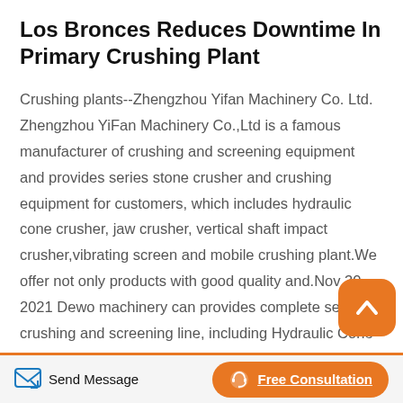Los Bronces Reduces Downtime In Primary Crushing Plant
Crushing plants--Zhengzhou Yifan Machinery Co. Ltd. Zhengzhou YiFan Machinery Co.,Ltd is a famous manufacturer of crushing and screening equipment and provides series stone crusher and crushing equipment for customers, which includes hydraulic cone crusher, jaw crusher, vertical shaft impact crusher,vibrating screen and mobile crushing plant.We offer not only products with good quality and.Nov 30, 2021 Dewo machinery can provides complete set of crushing and screening line, including Hydraulic Cone Crusher, Jaw Crusher,
Send Message | Free Consultation